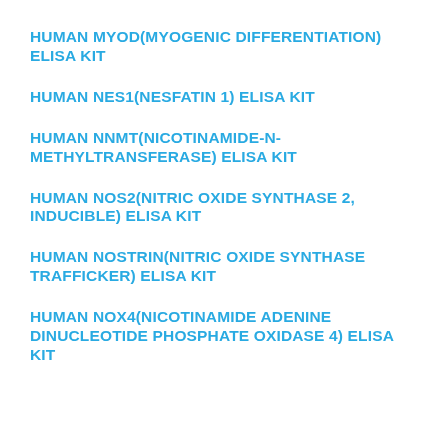HUMAN MYOD(MYOGENIC DIFFERENTIATION) ELISA KIT
HUMAN NES1(NESFATIN 1) ELISA KIT
HUMAN NNMT(NICOTINAMIDE-N-METHYLTRANSFERASE) ELISA KIT
HUMAN NOS2(NITRIC OXIDE SYNTHASE 2, INDUCIBLE) ELISA KIT
HUMAN NOSTRIN(NITRIC OXIDE SYNTHASE TRAFFICKER) ELISA KIT
HUMAN NOX4(NICOTINAMIDE ADENINE DINUCLEOTIDE PHOSPHATE OXIDASE 4) ELISA KIT